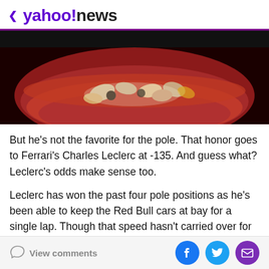< yahoo!news
[Figure (photo): Photo of a red bowl filled with mixed nuts and other food items]
But he's not the favorite for the pole. That honor goes to Ferrari's Charles Leclerc at -135. And guess what? Leclerc's odds make sense too.
Leclerc has won the past four pole positions as he's been able to keep the Red Bull cars at bay for a single lap. Though that speed hasn't carried over for multiple laps. Leclerc's inability to win in Baku on Sunday made him the
View comments